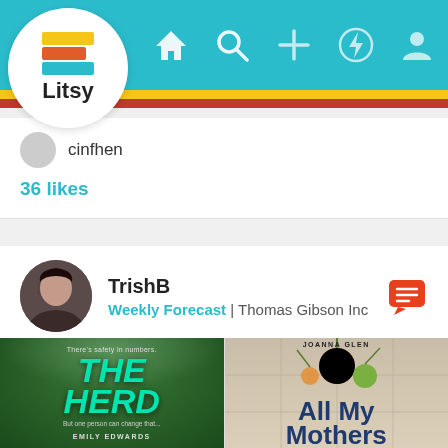[Figure (screenshot): Litsy app logo - stacked colorful books with text 'Litsy']
Litsy app navigation bar with home, search, add, activity, and profile icons
cinfhen
36 likes
TrishB
Weekly Forecast | Thomas Gibson Inc
[Figure (photo): Book cover: THE HERD by Emily Edwards - dark green background with colorful birds and teal title text]
[Figure (photo): Book cover: All My Mothers by Joanna Glen - beige background with orange/green botanical illustration and dark blue title text]